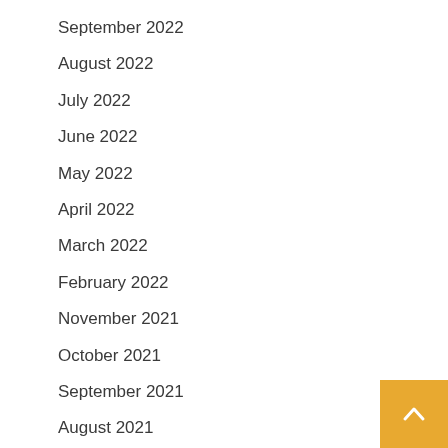September 2022
August 2022
July 2022
June 2022
May 2022
April 2022
March 2022
February 2022
November 2021
October 2021
September 2021
August 2021
July 2021